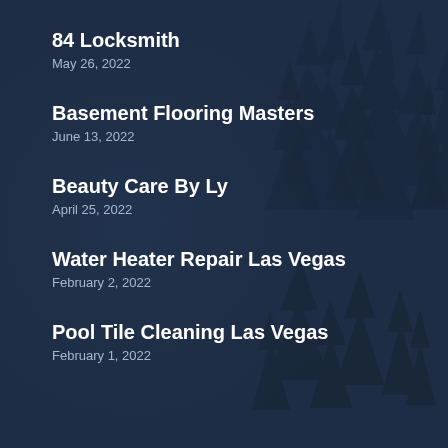84 Locksmith
May 26, 2022
Basement Flooring Masters
June 13, 2022
Beauty Care By Ly
April 25, 2022
Water Heater Repair Las Vegas
February 2, 2022
Pool Tile Cleaning Las Vegas
February 1, 2022